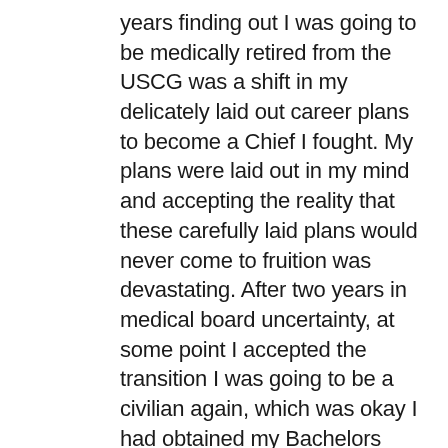years finding out I was going to be medically retired from the USCG was a shift in my delicately laid out career plans to become a Chief I fought. My plans were laid out in my mind and accepting the reality that these carefully laid plans would never come to fruition was devastating. After two years in medical board uncertainty, at some point I accepted the transition I was going to be a civilian again, which was okay I had obtained my Bachelors Degree and Master Degree while serving in the USCG and being a full time working mom. I could get job, and could go into the psychological field, I could have a career I loved. I did love my time in the USCG but with all jobs